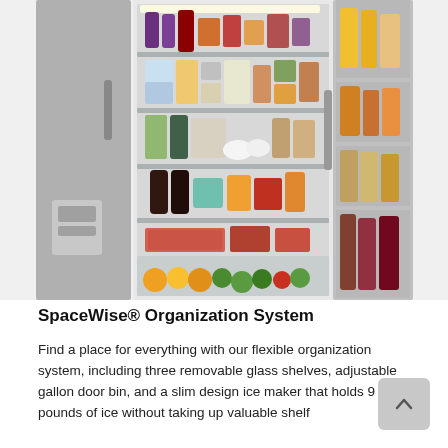[Figure (photo): Open side-by-side refrigerator filled with food items including fruits, vegetables, beverages, condiments, and leftovers on multiple glass shelves and door bins. The interior is brightly lit and shows detailed organization.]
SpaceWise® Organization System
Find a place for everything with our flexible organization system, including three removable glass shelves, adjustable gallon door bin, and a slim design ice maker that holds 9 pounds of ice without taking up valuable shelf